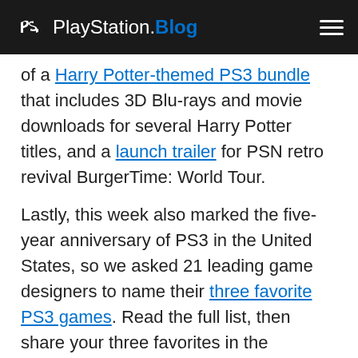PlayStation.Blog
of a Harry Potter-themed PS3 bundle that includes 3D Blu-rays and movie downloads for several Harry Potter titles, and a launch trailer for PSN retro revival BurgerTime: World Tour.
Lastly, this week also marked the five-year anniversary of PS3 in the United States, so we asked 21 leading game designers to name their three favorite PS3 games. Read the full list, then share your three favorites in the comments. Be sure to tell us why!
What are you playing this weekend?